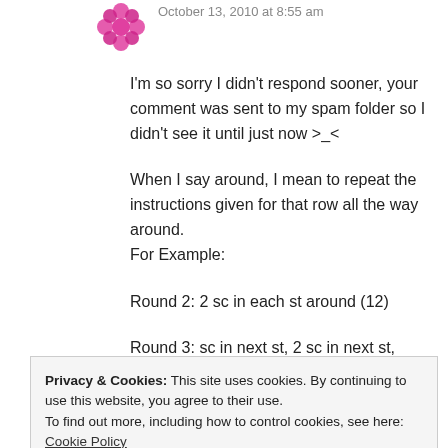October 13, 2010 at 8:55 am
I'm so sorry I didn't respond sooner, your comment was sent to my spam folder so I didn't see it until just now >_<
When I say around, I mean to repeat the instructions given for that row all the way around.
For Example:
Round 2: 2 sc in each st around (12)
Round 3: sc in next st, 2 sc in next st, around (18)
After round 2 you should have 12 stitches
Privacy & Cookies: This site uses cookies. By continuing to use this website, you agree to their use.
To find out more, including how to control cookies, see here: Cookie Policy
When you've finished the 3rd row row you will be left